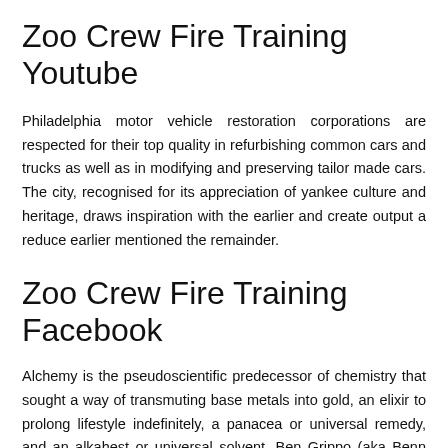Zoo Crew Fire Training Youtube
Philadelphia motor vehicle restoration corporations are respected for their top quality in refurbishing common cars and trucks as well as in modifying and preserving tailor made cars. The city, recognised for its appreciation of yankee culture and heritage, draws inspiration with the earlier and create output a reduce earlier mentioned the remainder.
Zoo Crew Fire Training Facebook
Alchemy is the pseudoscientific predecessor of chemistry that sought a way of transmuting base metals into gold, an elixir to prolong lifestyle indefinitely, a panacea or universal remedy, and an alkahest or universal solvent. Ben Grippo (aka Benn Grim) is an Alchemist. Not during the sense of turning base metal into gold, but from currently being in the extremely dark, drug addicted put, into a now